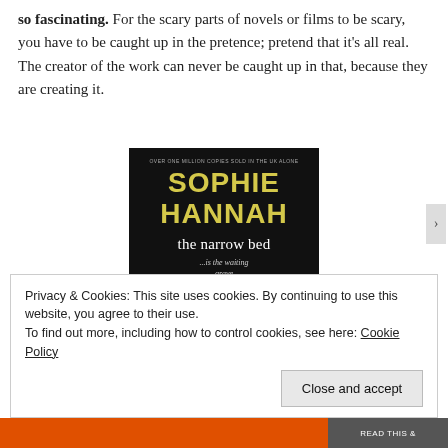so fascinating. For the scary parts of novels or films to be scary, you have to be caught up in the pretence; pretend that it's all real. The creator of the work can never be caught up in that, because they are creating it.
[Figure (photo): Book cover of 'the narrow bed' by Sophie Hannah. Black background with yellow bold author name 'SOPHIE HANNAH', white serif title 'the narrow bed', italic subtitle '...is the waiting grave', small tagline 'OVER ONE MILLION COPIES SOLD IN THE UK ALONE', and abstract geometric art at the bottom with yellow, grey and black shapes.]
Privacy & Cookies: This site uses cookies. By continuing to use this website, you agree to their use.
To find out more, including how to control cookies, see here: Cookie Policy